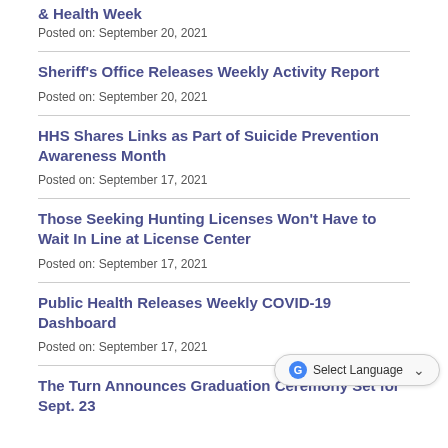& Health Week
Posted on: September 20, 2021
Sheriff's Office Releases Weekly Activity Report
Posted on: September 20, 2021
HHS Shares Links as Part of Suicide Prevention Awareness Month
Posted on: September 17, 2021
Those Seeking Hunting Licenses Won't Have to Wait In Line at License Center
Posted on: September 17, 2021
Public Health Releases Weekly COVID-19 Dashboard
Posted on: September 17, 2021
The Turn Announces Graduation Ceremony Set for Sept. 23